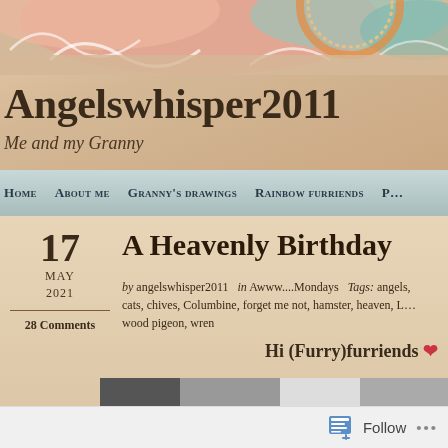[Figure (illustration): Decorative watercolor illustration at the top of a blog page showing colorful swirling designs in pink, teal, and orange tones with waves and circular motifs]
Angelswhisper2011
Me and my Granny
Home   About me   Granny's drawings   Rainbow furriends   P...
17  A Heavenly Birthday
MAY
2021
28 Comments
by angelswhisper2011   in Awww....Mondays   Tags: angels, cats, chives, Columbine, forget me not, hamster, heaven, L... wood pigeon, wren
Hi (Furry)furriends ❤
[Figure (photo): Partial photo strip visible at bottom of content area, appears to be a black and white or grayscale photo]
Follow  ...